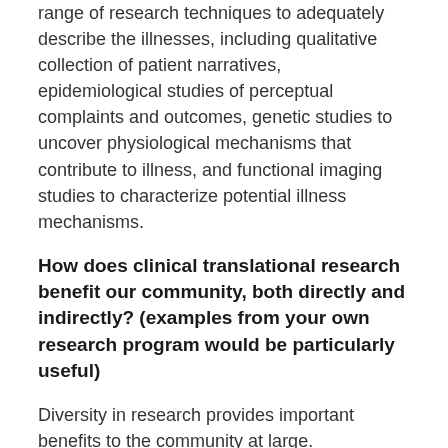range of research techniques to adequately describe the illnesses, including qualitative collection of patient narratives, epidemiological studies of perceptual complaints and outcomes, genetic studies to uncover physiological mechanisms that contribute to illness, and functional imaging studies to characterize potential illness mechanisms.
How does clinical translational research benefit our community, both directly and indirectly? (examples from your own research program would be particularly useful)
Diversity in research provides important benefits to the community at large. Understanding disease in a diverse population enables individuals with an illness to best understand what they can expect. Studies that focus on a narrow population of people selected by gender or race make it difficult to understand what an